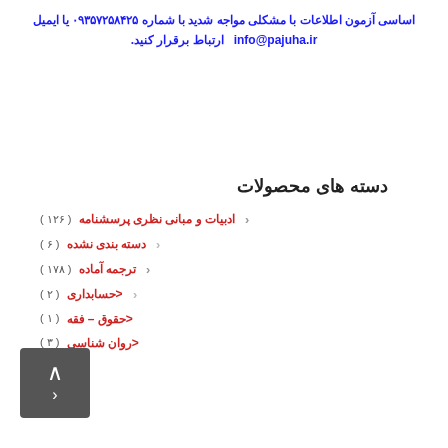اساسی آزمون اطلاعات با مشکلی مواجه شدید با شماره ۰۹۳۵۷۲۵۸۴۲۵ یا ایمیل info@pajuha.ir ارتباط برقرار کنید.
دسته های محصولات
ادبیات و مبانی نظری پرسشنامه (۱۲۶)
دسته بندی نشده (۶)
ترجمه آماده (۱۷۸)
<حسابداری (۲)
<حقوق – فقه (۱)
<روان شناسی (۳)